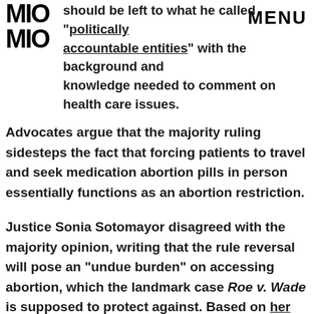MIC | MENU
should be left to what he called "politically accountable entities" with the background and knowledge needed to comment on health care issues. Advocates argue that the majority ruling sidesteps the fact that forcing patients to travel and seek medication abortion pills in person essentially functions as an abortion restriction.
Justice Sonia Sotomayor disagreed with the majority opinion, writing that the rule reversal will pose an "undue burden" on accessing abortion, which the landmark case Roe v. Wade is supposed to protect against. Based on her dissent, which was joined by Justice Elena Kagan, it seems that Sotomayor also disagreed with the justification that the judicial